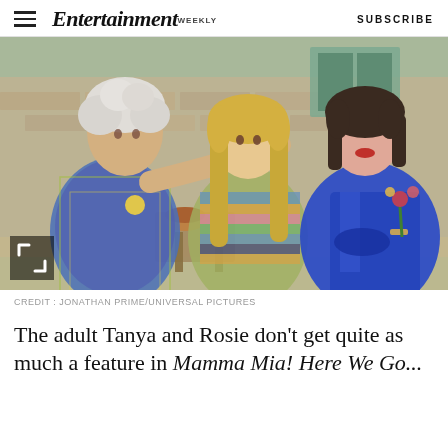Entertainment Weekly — SUBSCRIBE
[Figure (photo): Three women sitting outdoors in a Mediterranean setting. An older woman with curly white hair in a patterned blue and yellow outfit reaches toward a young blonde woman in a colorful knit top. A third woman with a dark bob haircut wears a royal blue dress and holds flowers.]
CREDIT : JONATHAN PRIME/UNIVERSAL PICTURES
The adult Tanya and Rosie don't get quite as much a feature in Mamma Mia! Here We Go...